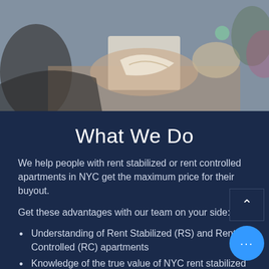[Figure (photo): People exchanging papers or documents around a table, hands visible, collaborative office scene]
What We Do
We help people with rent stabilized or rent controlled apartments in NYC get the maximum price for their buyout.
Get these advantages with our team on your side:
Understanding of Rent Stabilized (RS) and Rent Controlled (RC) apartments
Knowledge of the true value of NYC rent stabilized and rent...